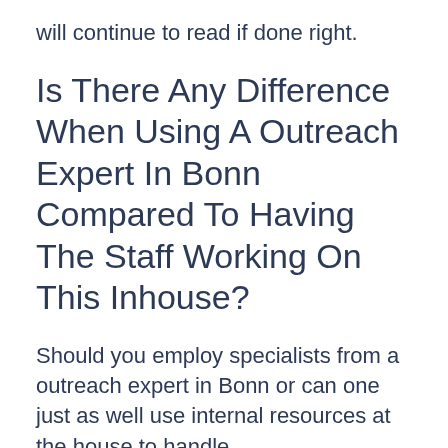will continue to read if done right.
Is There Any Difference When Using A Outreach Expert In Bonn Compared To Having The Staff Working On This Inhouse?
Should you employ specialists from a outreach expert in Bonn or can one just as well use internal resources at the house to handle